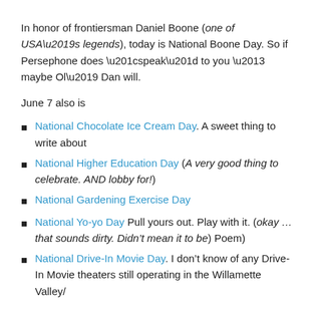In honor of frontiersman Daniel Boone (one of USA's legends), today is National Boone Day. So if Persephone does “speak” to you – maybe Ol’ Dan will.
June 7 also is
National Chocolate Ice Cream Day. A sweet thing to write about
National Higher Education Day (A very good thing to celebrate. AND lobby for!)
National Gardening Exercise Day
National Yo-yo Day Pull yours out. Play with it. (okay … that sounds dirty. Didn’t mean it to be) Poem)
National Drive-In Movie Day. I don’t know of any Drive-In Movie theaters still operating in the Willamette Valley/